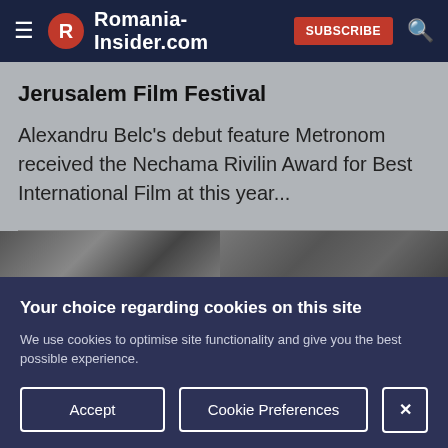Romania-Insider.com SUBSCRIBE
Jerusalem Film Festival
Alexandru Belc's debut feature Metronom received the Nechama Rivilin Award for Best International Film at this year...
[Figure (photo): Partial view of a black and white photograph, split in two sections]
Your choice regarding cookies on this site
We use cookies to optimise site functionality and give you the best possible experience.
Accept | Cookie Preferences | X